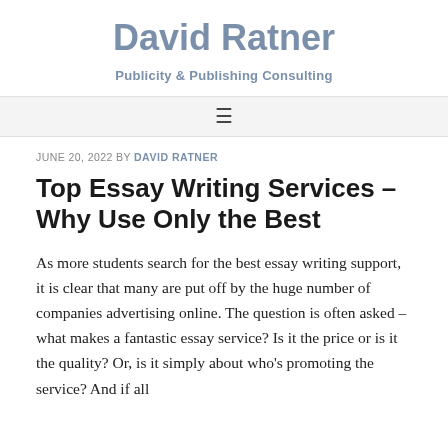David Ratner
Publicity & Publishing Consulting
≡
JUNE 20, 2022 BY DAVID RATNER
Top Essay Writing Services – Why Use Only the Best
As more students search for the best essay writing support, it is clear that many are put off by the huge number of companies advertising online. The question is often asked – what makes a fantastic essay service? Is it the price or is it the quality? Or, is it simply about who's promoting the service? And if all